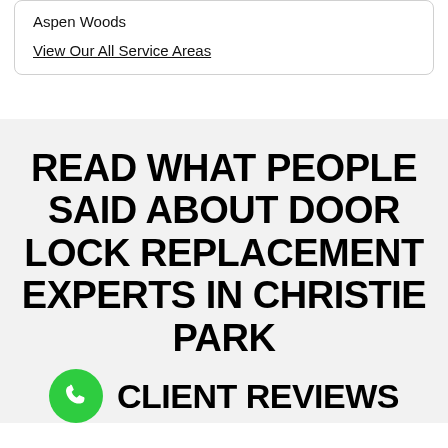Aspen Woods
View Our All Service Areas
READ WHAT PEOPLE SAID ABOUT DOOR LOCK REPLACEMENT EXPERTS IN CHRISTIE PARK
CLIENT REVIEWS